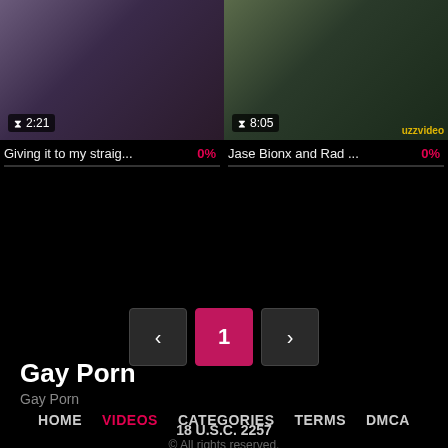[Figure (screenshot): Video thumbnail left: 2:21 duration badge]
[Figure (screenshot): Video thumbnail right: 8:05 duration badge]
Giving it to my straig...  0%
Jase Bionx and Rad ...  0%
< 1 >
Gay Porn
Gay Porn
HOME  VIDEOS  CATEGORIES  TERMS  DMCA
18 U.S.C. 2257
© All rights reserved.